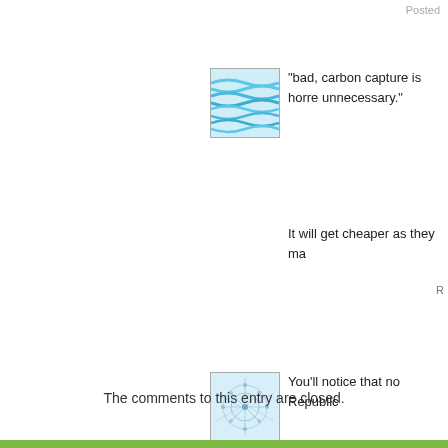Posted
[Figure (illustration): Blue wavy water-like pattern avatar icon]
"bad, carbon capture is horre unnecessary."
It will get cheaper as they ma
R
[Figure (illustration): Blue neural network / dendrite pattern avatar icon]
You'll notice that no Republic
At least when Roosevelt rolle on putting people to work imm be disappointed with this Chr nothing about shipbuilding or
Idiots. Well, at least Andrew S today, which is all that matter
S
The comments to this entry are closed.